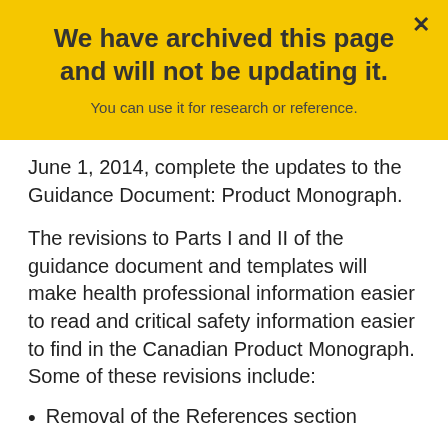We have archived this page and will not be updating it.
You can use it for research or reference.
June 1, 2014, complete the updates to the Guidance Document: Product Monograph.
The revisions to Parts I and II of the guidance document and templates will make health professional information easier to read and critical safety information easier to find in the Canadian Product Monograph. Some of these revisions include:
Removal of the References section